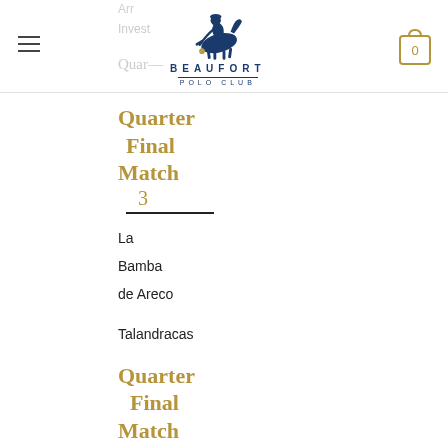BEAUFORT POLO CLUB
Quarter Final Match 3
La Bamba de Areco
Talandracas
Quarter Final Match 4
Valiente